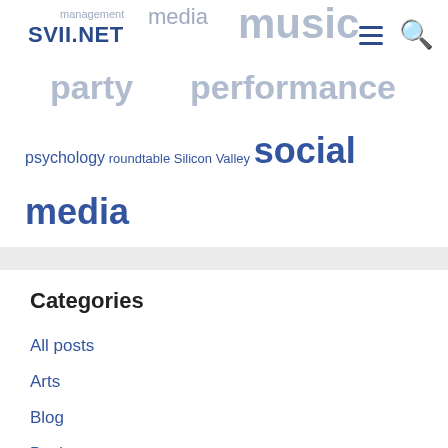SVII.NET
[Figure (infographic): Word cloud tag cloud with terms: management, media, music, operationalize, party, performance, perspective, problem solving, psychology, roundtable, Silicon Valley, social media, storytelling, sustainability, SVII, technology, video, visual — words sized by frequency, in blue-grey tones]
Categories
All posts
Arts
Blog
Business